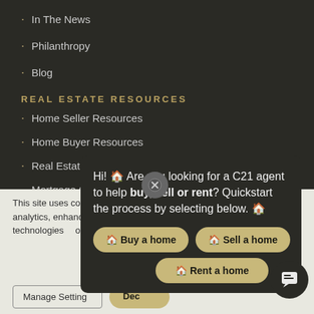In The News
Philanthropy
Blog
REAL ESTATE RESOURCES
Home Seller Resources
Home Buyer Resources
Real Estate Glossary
Mortgage Calculators
JOIN C2...
This site uses cookies as described in our privacy policy. ... operation, analytics, enhanced ... you may choose to consent to use of these technologies, or manage your own preferences ...
[Figure (infographic): Chat popup overlay with message: Hi! Are you looking for a C21 agent to help buy, sell or rent? Quickstart the process by selecting below. Buttons: Buy a home, Sell a home, Rent a home. Close button (X circle) at top-left of popup. Chat icon at bottom-right.]
Manage Settings  Decline